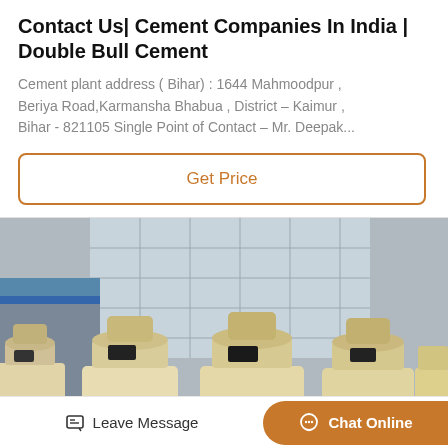Contact Us| Cement Companies In India | Double Bull Cement
Cement plant address ( Bihar) : 1644 Mahmoodpur , Beriya Road,Karmansha Bhabua , District – Kaimur , Bihar - 821105 Single Point of Contact – Mr. Deepak...
Get Price
[Figure (photo): Industrial cement plant machinery — multiple large cream/beige-colored cone-shaped machines lined up in a row in front of a large industrial building with glass windows]
Leave Message
Chat Online